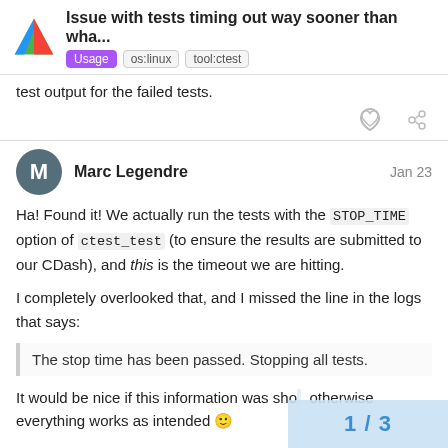Issue with tests timing out way sooner than wha... | Usage | os:linux | tool:ctest
test output for the failed tests.
Marc Legendre  Jan 23
Ha! Found it! We actually run the tests with the STOP_TIME option of ctest_test (to ensure the results are submitted to our CDash), and this is the timeout we are hitting.
I completely overlooked that, and I missed the line in the logs that says:
The stop time has been passed. Stopping all tests.
It would be nice if this information was sho... otherwise everything works as intended 🙂
1 / 3